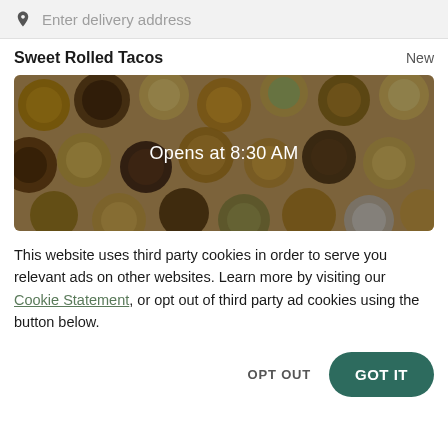Enter delivery address
Sweet Rolled Tacos
New
[Figure (photo): Overhead photo of assorted decorated cookies and donuts with text overlay 'Opens at 8:30 AM']
This website uses third party cookies in order to serve you relevant ads on other websites. Learn more by visiting our Cookie Statement, or opt out of third party ad cookies using the button below.
OPT OUT
GOT IT